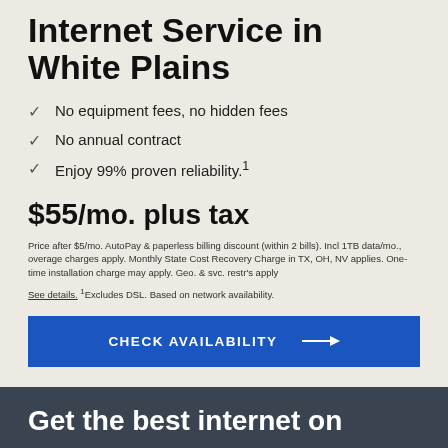Internet Service in White Plains
No equipment fees, no hidden fees
No annual contract
Enjoy 99% proven reliability.¹
$55/mo. plus tax
Price after $5/mo. AutoPay & paperless billing discount (within 2 bills). Incl 1TB data/mo., overage charges apply. Monthly State Cost Recovery Charge in TX, OH, NV applies. One-time installation charge may apply. Geo. & svc. restr's apply
See details. ¹Excludes DSL. Based on network availability.
CHECK AVAILABILITY →
Get the best internet on